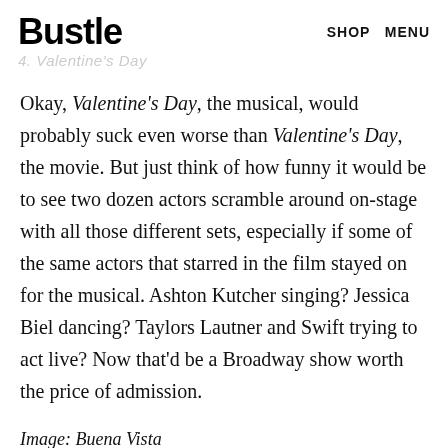Bustle   SHOP   MENU
4. Valentine's Day
Okay, Valentine's Day, the musical, would probably suck even worse than Valentine's Day, the movie. But just think of how funny it would be to see two dozen actors scramble around on-stage with all those different sets, especially if some of the same actors that starred in the film stayed on for the musical. Ashton Kutcher singing? Jessica Biel dancing? Taylors Lautner and Swift trying to act live? Now that'd be a Broadway show worth the price of admission.
Image: Buena Vista